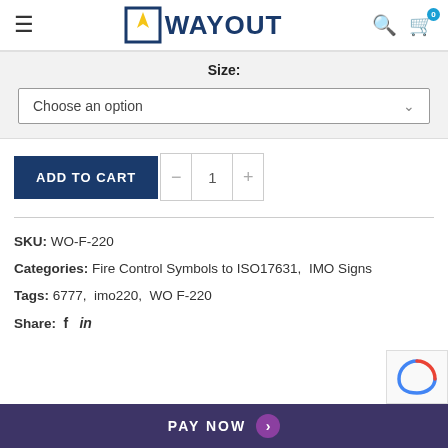WAYOUT — navigation header with hamburger menu, search icon, and cart (0)
Size:
Choose an option
ADD TO CART
SKU: WO-F-220
Categories: Fire Control Symbols to ISO17631, IMO Signs
Tags: 6777, imo220, WO F-220
Share:
PAY NOW